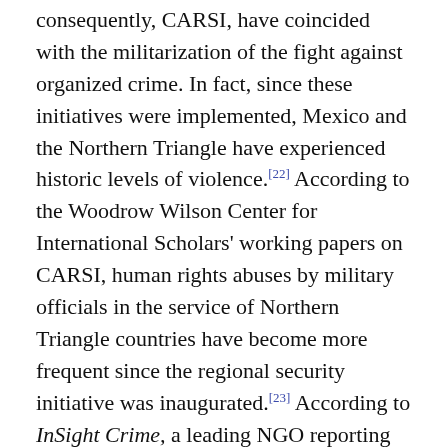consequently, CARSI, have coincided with the militarization of the fight against organized crime. In fact, since these initiatives were implemented, Mexico and the Northern Triangle have experienced historic levels of violence.[22] According to the Woodrow Wilson Center for International Scholars' working papers on CARSI, human rights abuses by military officials in the service of Northern Triangle countries have become more frequent since the regional security initiative was inaugurated.[23] According to InSight Crime, a leading NGO reporting on crime and security issues in Latin America, in cases like El Salvador's, extrajudicial killings continue to be alarmingly regular.[24] Not surprisingly, the Wilson Center has affirmed that CARSI "does not reflect an integrated strategy for addressing the critical security threats in Central America and thus has had negligible impact on the factors driving the increased Central American migration since 2011."[25] Furthermore, CARSI's funding comes from several sources, mainly the